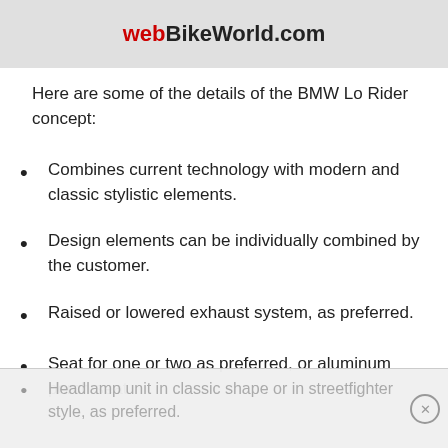[Figure (photo): Partial image of a motorcycle with webBikeWorld.com watermark text over it]
Here are some of the details of the BMW Lo Rider concept:
Combines current technology with modern and classic stylistic elements.
Design elements can be individually combined by the customer.
Raised or lowered exhaust system, as preferred.
Seat for one or two as preferred, or aluminum perch seat.
Headlamp unit in classic shape or in streetfighter style, as preferred.